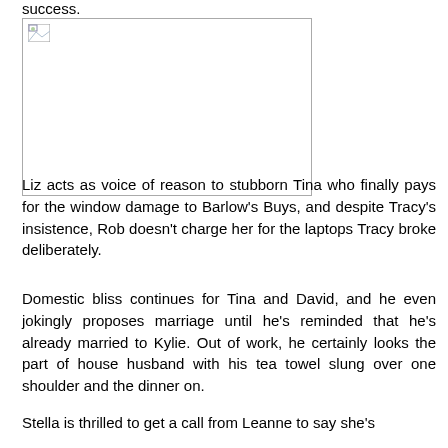success.
[Figure (photo): A broken/unloaded image placeholder with a small broken image icon in the top-left corner, shown within a rectangular bordered box.]
Liz acts as voice of reason to stubborn Tina who finally pays for the window damage to Barlow's Buys, and despite Tracy's insistence, Rob doesn't charge her for the laptops Tracy broke deliberately.
Domestic bliss continues for Tina and David, and he even jokingly proposes marriage until he's reminded that he's already married to Kylie. Out of work, he certainly looks the part of house husband with his tea towel slung over one shoulder and the dinner on.
Stella is thrilled to get a call from Leanne to say she's